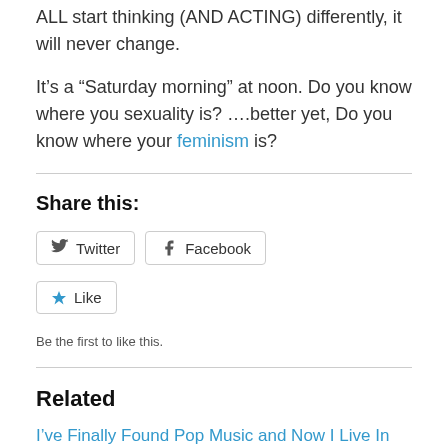ALL start thinking (AND ACTING) differently, it will never change.
It’s a “Saturday morning” at noon. Do you know where you sexuality is? ….better yet, Do you know where your feminism is?
Share this:
[Figure (other): Twitter and Facebook share buttons, and a Like button with star icon]
Be the first to like this.
Related
I’ve Finally Found Pop Music and Now I Live In ‘Madonnaland’
February 6, 2017